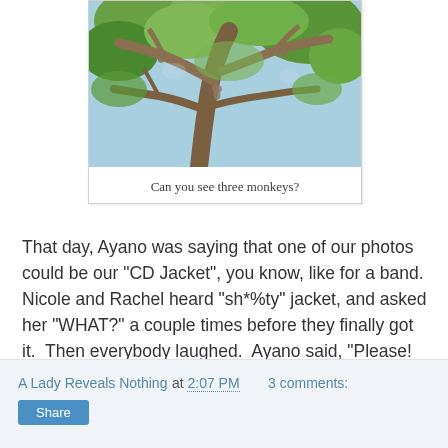[Figure (photo): Photo of a tree with branches and foliage, caption asks if you can see three monkeys hidden in the tree]
Can you see three monkeys?
That day, Ayano was saying that one of our photos could be our "CD Jacket", you know, like for a band.  Nicole and Rachel heard "sh*%ty" jacket, and asked her "WHAT?" a couple times before they finally got it.  Then everybody laughed.  Ayano said, "Please!  I'm Japanese!", and then everybody laughed again.
A Lady Reveals Nothing at 2:07 PM    3 comments: